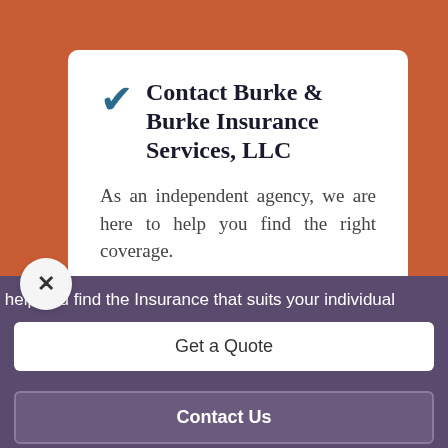Contact Burke & Burke Insurance Services, LLC
As an independent agency, we are here to help you find the right coverage.
First Name*
o help you find the Insurance that suits your individual
Get a Quote
Contact Us